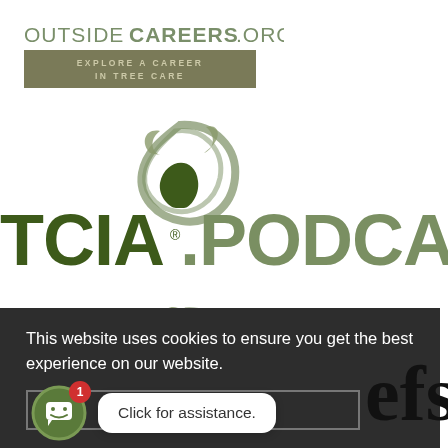[Figure (logo): OutsideCareers.org logo with tagline 'EXPLORE A CAREER IN TREE CARE' on an olive/tan banner]
[Figure (logo): TCIA Podcast logo with green tree/swirl icon and dark green bold text 'TCIA.PODCAST']
This website uses cookies to ensure you get the best experience on our website.
[Figure (screenshot): Chat assistant widget showing a smiley bot icon with badge '1' and speech bubble 'Click for assistance.']